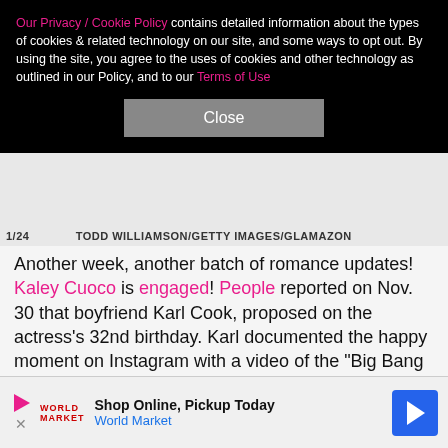Our Privacy / Cookie Policy contains detailed information about the types of cookies & related technology on our site, and some ways to opt out. By using the site, you agree to the uses of cookies and other technology as outlined in our Policy, and to our Terms of Use
Close
1/24   TODD WILLIAMSON/GETTY IMAGES/GLAMAZON
Another week, another batch of romance updates! Kaley Cuoco is engaged! People reported on Nov. 30 that boyfriend Karl Cook, proposed on the actress's 32nd birthday. Karl documented the happy moment on Instagram with a video of the "Big Bang Theory" star crying tears of joy. The professional equestrian wrote, "Well after nearly two years I finally got up the courage to ask her to marry me. This is the best night of my life
Shop Online, Pickup Today World Market